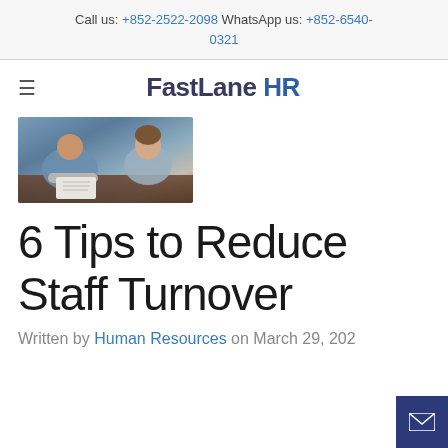Call us: +852-2522-2098 WhatsApp us: +852-6540-0321
FastLane HR
[Figure (photo): Two people at a wooden table, one writing in a notebook, office/meeting context. Blue tones dominant.]
6 Tips to Reduce Staff Turnover
Written by Human Resources on March 29, 202…